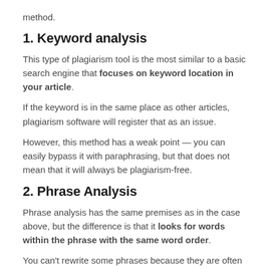method.
1. Keyword analysis
This type of plagiarism tool is the most similar to a basic search engine that focuses on keyword location in your article.
If the keyword is in the same place as other articles, plagiarism software will register that as an issue.
However, this method has a weak point — you can easily bypass it with paraphrasing, but that does not mean that it will always be plagiarism-free.
2. Phrase Analysis
Phrase analysis has the same premises as in the case above, but the difference is that it looks for words within the phrase with the same word order.
You can't rewrite some phrases because they are often used as transitions in the text and will always show in the